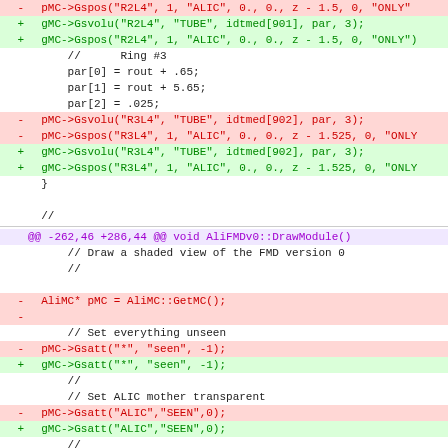Diff code block showing changes to AliFMDv0 source file with removed (red) and added (green) lines for Gspos/Gsvolu calls and DrawModule function
[Figure (screenshot): Code diff showing C++ source changes with red (deleted) and green (added) lines for AliFMDv0 geometry functions]